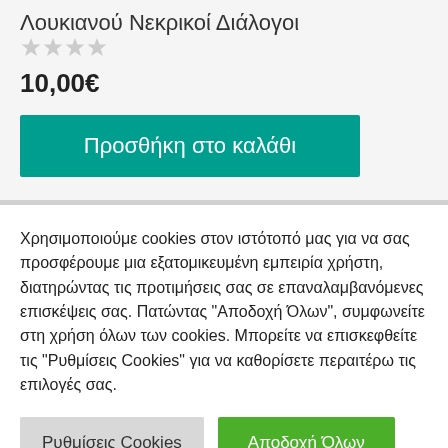Λουκιανού Νεκρικοί Διάλογοι
10,00€
Προσθήκη στο καλάθι
Χρησιμοποιούμε cookies στον ιστότοπό μας για να σας προσφέρουμε μια εξατομικευμένη εμπειρία χρήστη, διατηρώντας τις προτιμήσεις σας σε επαναλαμβανόμενες επισκέψεις σας. Πατώντας "Αποδοχή Όλων", συμφωνείτε στη χρήση όλων των cookies. Μπορείτε να επισκεφθείτε τις "Ρυθμίσεις Cookies" για να καθορίσετε περαιτέρω τις επιλογές σας.
Ρυθμίσεις Cookies
Αποδοχή Όλων